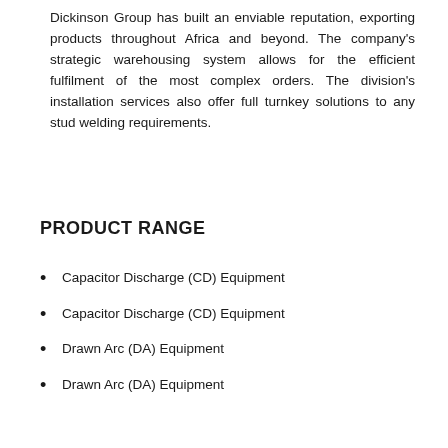Dickinson Group has built an enviable reputation, exporting products throughout Africa and beyond. The company's strategic warehousing system allows for the efficient fulfilment of the most complex orders. The division's installation services also offer full turnkey solutions to any stud welding requirements.
PRODUCT RANGE
Capacitor Discharge (CD) Equipment
Capacitor Discharge (CD) Equipment
Drawn Arc (DA) Equipment
Drawn Arc (DA) Equipment